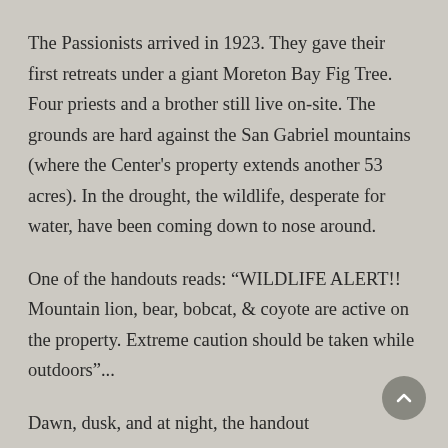The Passionists arrived in 1923. They gave their first retreats under a giant Moreton Bay Fig Tree. Four priests and a brother still live on-site. The grounds are hard against the San Gabriel mountains (where the Center's property extends another 53 acres). In the drought, the wildlife, desperate for water, have been coming down to nose around.
One of the handouts reads: “WILDLIFE ALERT!! Mountain lion, bear, bobcat, & coyote are active on the property. Extreme caution should be taken while outdoors”...
Dawn, dusk, and at night, the handout